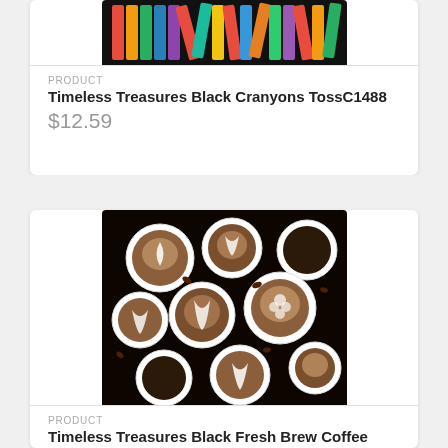[Figure (photo): Colorful crayons tossed pattern on black background, product image for Timeless Treasures Black Cranyons TossC1488]
PRODUCT
Timeless Treasures Black Cranyons TossC1488
$12.59
[Figure (photo): Multiple cups of latte art coffee on black background, product image for Timeless Treasures Black Fresh Brew Coffee C7257]
PRODUCT
Timeless Treasures Black Fresh Brew Coffee C7257